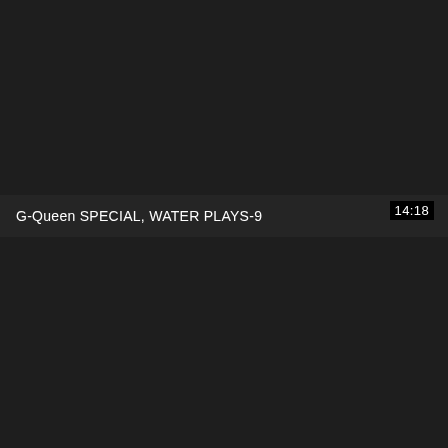[Figure (screenshot): Dark video thumbnail or screenshot with a black/dark gray background, showing a video title bar area]
G-Queen SPECIAL, WATER PLAYS-9
14:18